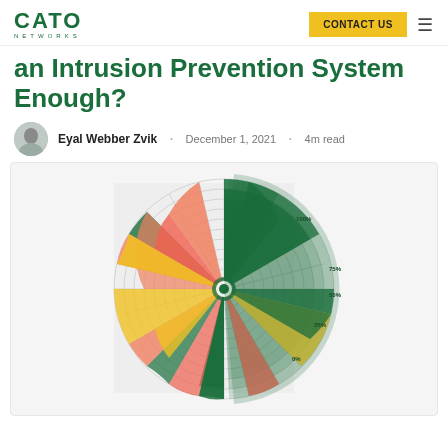CATO NETWORKS — CONTACT US
an Intrusion Prevention System Enough?
Eyal Webber Zvik · December 1, 2021 · 4m read
[Figure (radar-chart): A circular/radial grid chart (spider/radar style) showing colored segments in green, orange/red, yellow, and white arranged in concentric rings forming a full circle. The right half has a highlighted green overlay section with labels. The chart appears to show IPS or security coverage data across multiple categories.]